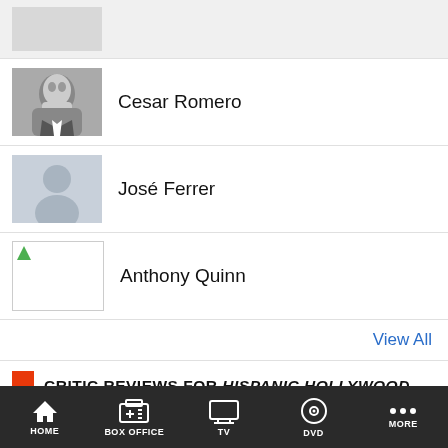[Figure (other): Top placeholder image (partially visible, gray background)]
Cesar Romero
José Ferrer
Anthony Quinn
View All
CRITIC REVIEWS FOR HISPANIC HOLLYWOOD
There are no critic reviews yet for Hispanic Hollywood. Keep checking Rotten Tomatoes for updates!
HOME  BOX OFFICE  TV  DVD  MORE